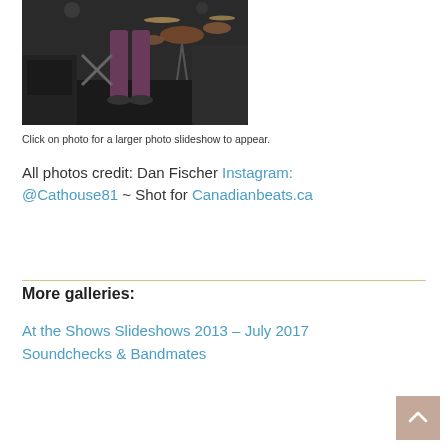[Figure (photo): Concert photo showing lower body of guitarist on stage with drum kit and speakers in background]
Click on photo for a larger photo slideshow to appear.
All photos credit: Dan Fischer Instagram: @Cathouse81 ~ Shot for Canadianbeats.ca
More galleries:
At the Shows Slideshows 2013 – July 2017
Soundchecks & Bandmates